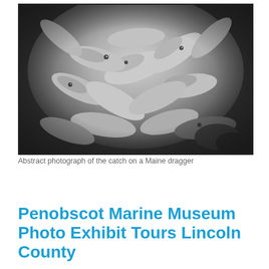[Figure (photo): Black and white abstract photograph of a large catch of fish (many small fish piled together) on a Maine dragger boat.]
Abstract photograph of the catch on a Maine dragger
Penobscot Marine Museum Photo Exhibit Tours Lincoln County